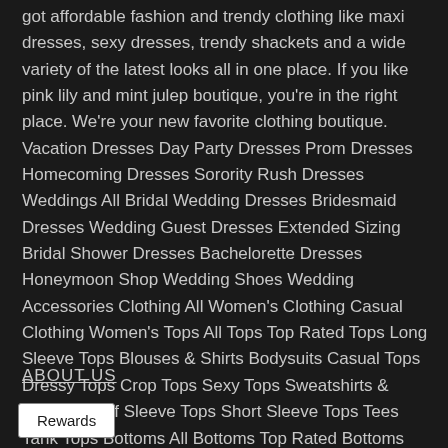got affordable fashion and trendy clothing like maxi dresses, sexy dresses, trendy shackets and a wide variety of the latest looks all in one place. If you like pink lily and mint julep boutique, you're in the right place. We're your new favorite clothing boutique. Vacation Dresses Day Party Dresses Prom Dresses Homecoming Dresses Sorority Rush Dresses Weddings All Bridal Wedding Dresses Bridesmaid Dresses Wedding Guest Dresses Extended Sizing Bridal Shower Dresses Bachelorette Dresses Honeymoon Shop Wedding Shoes Wedding Accessories Clothing All Women's Clothing Casual Clothing Women's Tops All Tops Top Rated Tops Long Sleeve Tops Blouses & Shirts Bodysuits Casual Tops Dressy Tops Crop Tops Sexy Tops Sweatshirts & Hoodies Puff Sleeve Tops Short Sleeve Tops Tees Tank Tops Bottoms All Bottoms Top Rated Bottoms Skirts Pants Shorts Rompers & Jumpsuits
ABOUT US
Rewards